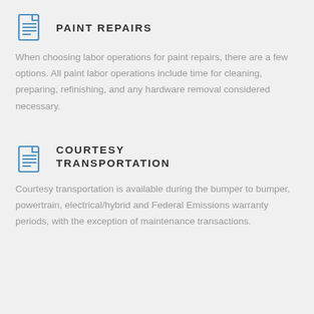PAINT REPAIRS
When choosing labor operations for paint repairs, there are a few options. All paint labor operations include time for cleaning, preparing, refinishing, and any hardware removal considered necessary.
COURTESY TRANSPORTATION
Courtesy transportation is available during the bumper to bumper, powertrain, electrical/hybrid and Federal Emissions warranty periods, with the exception of maintenance transactions.